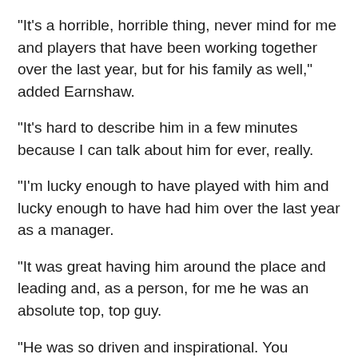"It's a horrible, horrible thing, never mind for me and players that have been working together over the last year, but for his family as well," added Earnshaw.
"It's hard to describe him in a few minutes because I can talk about him for ever, really.
"I'm lucky enough to have played with him and lucky enough to have had him over the last year as a manager.
"It was great having him around the place and leading and, as a person, for me he was an absolute top, top guy.
"He was so driven and inspirational. You couldn't help but totally respect him."
Another former Wales international, midfielder Matthew Jones, who won 13 caps between 1999 and 2003, remembers a man who helped him as a youngster at Leeds United.